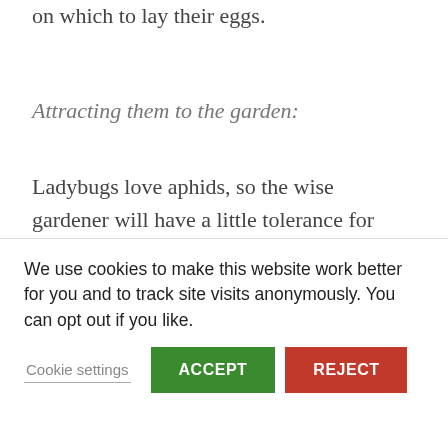on which to lay their eggs.
Attracting them to the garden:
Ladybugs love aphids, so the wise gardener will have a little tolerance for minor aphid infestations. Given time, their predators will likely find them. Ladybugs also love buckwheat flowers, but a study showed that they tend not to migrate
from a perimeter buckwheat patch into
garden within a couple of miles of a
of field
your own property, provide habitat by
We use cookies to make this website work better for you and to track site visits anonymously. You can opt out if you like.
Cookie settings
ACCEPT
REJECT